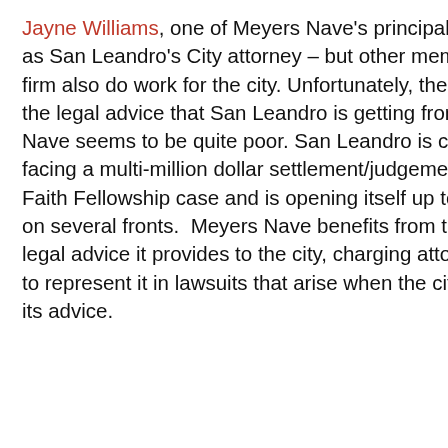Jayne Williams, one of Meyers Nave's principals, functions as San Leandro's City attorney – but other members of the firm also do work for the city. Unfortunately, the quality of the legal advice that San Leandro is getting from Meyers Nave seems to be quite poor. San Leandro is currently facing a multi-million dollar settlement/judgement in the Faith Fellowship case and is opening itself up to litigation on several fronts.  Meyers Nave benefits from the poor legal advice it provides to the city, charging attorney's fees to represent it in lawsuits that arise when the city follows its advice.